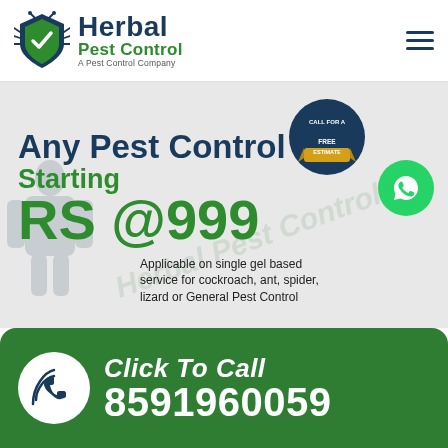[Figure (logo): Herbal Pest Control logo with shield/bug icon, company name and tagline 'A Pest Control Company']
[Figure (infographic): Hero banner on light gray background showing promotional text 'Any Pest Control Starting RS @999' with badge, WhatsApp button, watermark, and pest control technician silhouette. Text: 'Applicable on single gel based service for cockroach, ant, spider, lizard or General Pest Control']
[Figure (infographic): Green footer call-to-action bar with phone icon, 'Click To Call' label and phone number 8591960059]